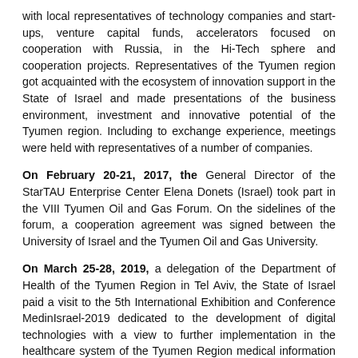with local representatives of technology companies and start-ups, venture capital funds, accelerators focused on cooperation with Russia, in the Hi-Tech sphere and cooperation projects. Representatives of the Tyumen region got acquainted with the ecosystem of innovation support in the State of Israel and made presentations of the business environment, investment and innovative potential of the Tyumen region. Including to exchange experience, meetings were held with representatives of a number of companies.
On February 20-21, 2017, the General Director of the StarTAU Enterprise Center Elena Donets (Israel) took part in the VIII Tyumen Oil and Gas Forum. On the sidelines of the forum, a cooperation agreement was signed between the University of Israel and the Tyumen Oil and Gas University.
On March 25-28, 2019, a delegation of the Department of Health of the Tyumen Region in Tel Aviv, the State of Israel paid a visit to the 5th International Exhibition and Conference MedinIsrael-2019 dedicated to the development of digital technologies with a view to further implementation in the healthcare system of the Tyumen Region medical information technology. Given that the equipment shown is not certified on the territory of the Russian Federation, an agreement was reached with several